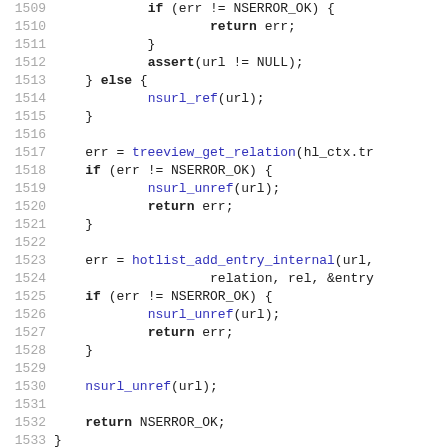[Figure (screenshot): Source code listing in C, lines 1509-1538, showing hotlist_add_folder function implementation with line numbers on the left in gray and code on the right using monospace font. Keywords in bold, function calls in blue.]